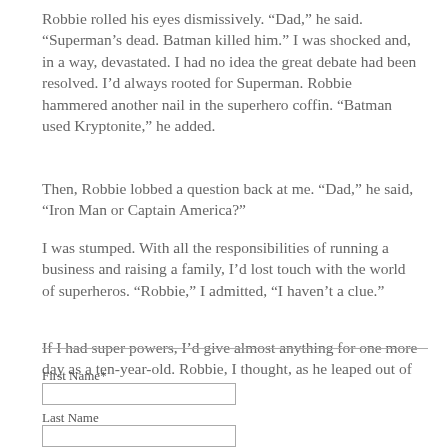Robbie rolled his eyes dismissively. “Dad,” he said. “Superman’s dead. Batman killed him.” I was shocked and, in a way, devastated. I had no idea the great debate had been resolved. I’d always rooted for Superman. Robbie hammered another nail in the superhero coffin. “Batman used Kryptonite,” he added.
Then, Robbie lobbed a question back at me. “Dad,” he said, “Iron Man or Captain America?”
I was stumped. With all the responsibilities of running a business and raising a family, I’d lost touch with the world of superheros. “Robbie,” I admitted, “I haven’t a clue.”
If I had super powers, I’d give almost anything for one more day as a ten-year-old. Robbie, I thought, as he leaped out of the car, enjoy every minute.
First Name*
Last Name